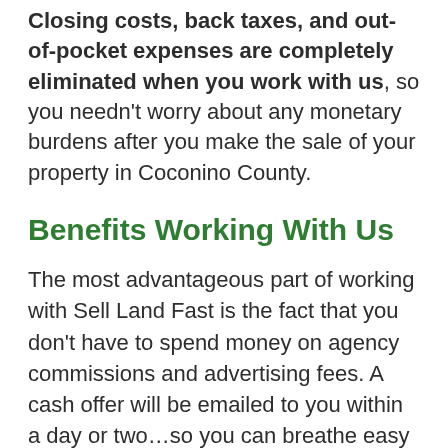Closing costs, back taxes, and out-of-pocket expenses are completely eliminated when you work with us, so you needn't worry about any monetary burdens after you make the sale of your property in Coconino County.
Benefits Working With Us
The most advantageous part of working with Sell Land Fast is the fact that you don't have to spend money on agency commissions and advertising fees. A cash offer will be emailed to you within a day or two…so you can breathe easy knowing that any financial burdens will soon come to an end. Our reputation transcends the entire United States, so you know that you're working with the right team